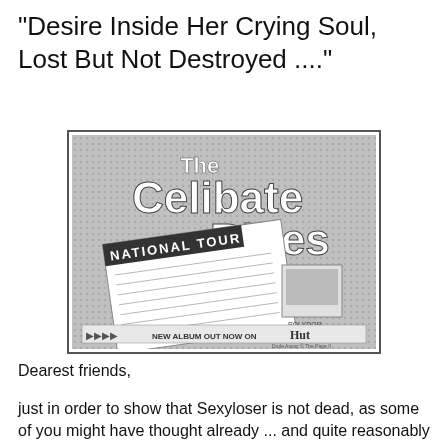"Desire Inside Her Crying Soul, Lost But Not Destroyed ...."
[Figure (photo): Black and white advertisement for The Celibate Rifles National Tour, showing stylized comic-like text with a tour date list and text 'NEW ALBUM OUT NOW ON' with a label logo.]
Dearest friends,
just in order to show that Sexyloser is not dead, as some of you might have thought already ... and quite reasonably so,